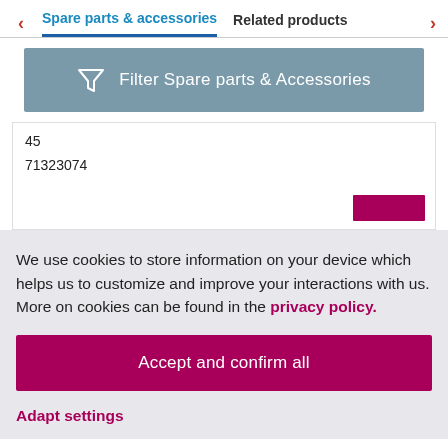Spare parts & accessories | Related products
[Figure (other): Filter Spare parts & Accessories button with funnel icon]
45
71323074
We use cookies to store information on your device which helps us to customize and improve your interactions with us. More on cookies can be found in the privacy policy.
Accept and confirm all
Adapt settings